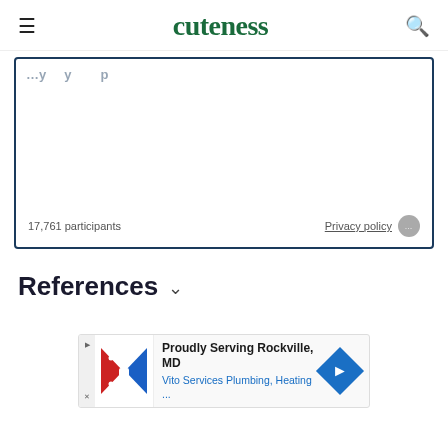cuteness
[Figure (other): A poll widget embedded in a dark blue bordered box showing partial top text and a footer with '17,761 participants', 'Privacy policy' link, and a dots menu button]
References ∨
[Figure (other): Advertisement banner: Proudly Serving Rockville, MD — Vito Services Plumbing, Heating ...]